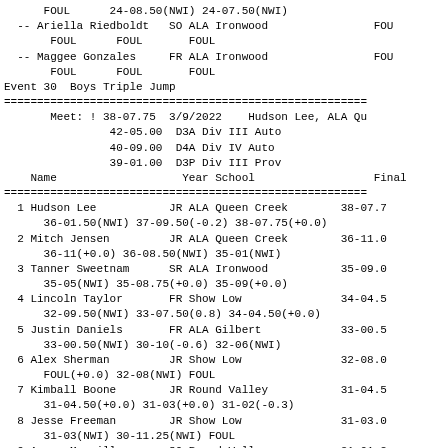FOUL      24-08.50(NWI) 24-07.50(NWI)
-- Ariella Riedboldt   SO ALA Ironwood                FOUl
     FOUL      FOUL       FOUL
-- Maggee Gonzales      FR ALA Ironwood                FOU
     FOUL      FOUL       FOUL
Event 30  Boys Triple Jump
Meet: ! 38-07.75  3/9/2022   Hudson Lee, ALA Qu
           42-05.00  D3A Div III Auto
           40-09.00  D4A Div IV Auto
           39-01.00  D3P Div III Prov
  Name                    Year School                  Final
| Place | Name | Year School | Finals |
| --- | --- | --- | --- |
| 1 | Hudson Lee | JR ALA Queen Creek | 38-07.7 |
|  | 36-01.50(NWI) 37-09.50(-0.2) 38-07.75(+0.0) |  |  |
| 2 | Mitch Jensen | JR ALA Queen Creek | 36-11.0 |
|  | 36-11(+0.0) 36-08.50(NWI) 35-01(NWI) |  |  |
| 3 | Tanner Sweetnam | SR ALA Ironwood | 35-09.0 |
|  | 35-05(NWI) 35-08.75(+0.0) 35-09(+0.0) |  |  |
| 4 | Lincoln Taylor | FR Show Low | 34-04.5 |
|  | 32-09.50(NWI) 33-07.50(0.8) 34-04.50(+0.0) |  |  |
| 5 | Justin Daniels | FR ALA Gilbert | 33-00.5 |
|  | 33-00.50(NWI) 30-10(-0.6) 32-06(NWI) |  |  |
| 6 | Alex Sherman | JR Show Low | 32-08.0 |
|  | FOUL(+0.0) 32-08(NWI) FOUL |  |  |
| 7 | Kimball Boone | JR Round Valley | 31-04.5 |
|  | 31-04.50(+0.0) 31-03(+0.0) 31-02(-0.3) |  |  |
| 8 | Jesse Freeman | JR Show Low | 31-03.0 |
|  | 31-03(NWI) 30-11.25(NWI) FOUL |  |  |
| 9 | Aaron Merrill | SO Round Valley | 31-01.2 |
|  | 28-04.25(NWI) 31-01.25(-0.8) 30-04.50(-0.4) |  |  |
| 10 | Parker Holcomb | SO Show Low | 30-09.0 |